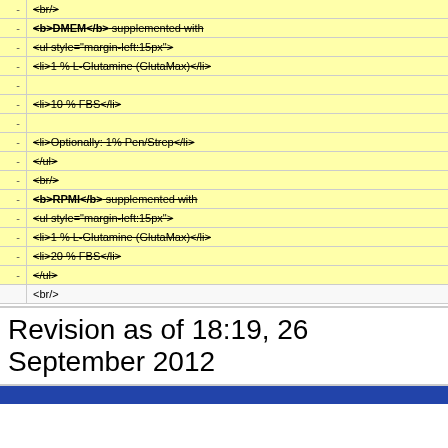| - | <br/> |
| - | <b>DMEM</b> supplemented with |
| - | <ul style="margin-left:15px"> |
| - | <li>1 % L-Glutamine (GlutaMax)</li> |
| - |  |
| - | <li>10 % FBS</li> |
| - |  |
| - | <li>Optionally: 1% Pen/Strep</li> |
| - | </ul> |
| - | <br/> |
| - | <b>RPMI</b> supplemented with |
| - | <ul style="margin-left:15px"> |
| - | <li>1 % L-Glutamine (GlutaMax)</li> |
| - | <li>20 % FBS</li> |
| - | </ul> |
|  | <br/> |
Revision as of 18:19, 26 September 2012